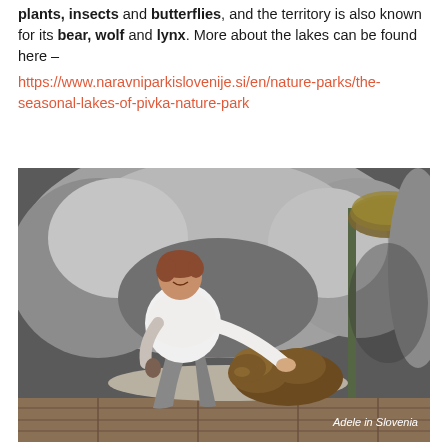plants, insects and butterflies, and the territory is also known for its bear, wolf and lynx. More about the lakes can be found here –
https://www.naravniparkislovenije.si/en/nature-parks/the-seasonal-lakes-of-pivka-nature-park
[Figure (photo): A woman crouching next to a bear exhibit or taxidermy bear inside a natural history museum or nature park display, surrounded by artificial rocks. Caption reads 'Adele in Slovenia'.]
Adele in Slovenia